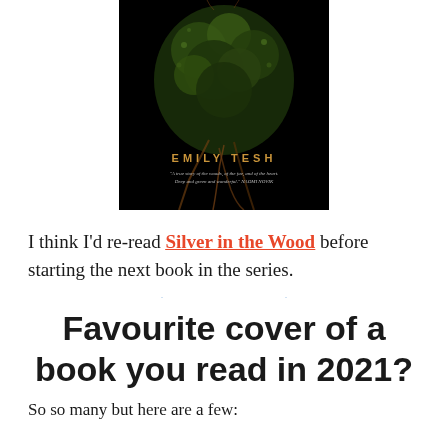[Figure (photo): Book cover of 'Silver in the Wood' by Emily Tesh. Dark background with tree/nature imagery in green and brown tones. Author name 'EMILY TESH' in gold letters. A quote beneath reads: 'A true story of the woods, of the fae, and of the heart. Deep and green and wonderful.' NAOMI NOVIK]
I think I'd re-read Silver in the Wood before starting the next book in the series.
Favourite cover of a book you read in 2021?
So so many but here are a few: